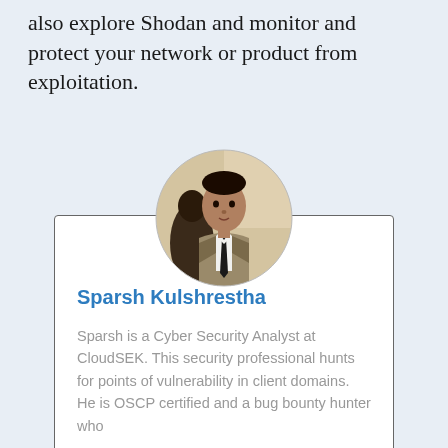also explore Shodan and monitor and protect your network or product from exploitation.
[Figure (photo): Circular profile photo of a young man in a suit with a tie, standing against a light beige background.]
Sparsh Kulshrestha
Sparsh is a Cyber Security Analyst at CloudSEK. This security professional hunts for points of vulnerability in client domains. He is OSCP certified and a bug bounty hunter who